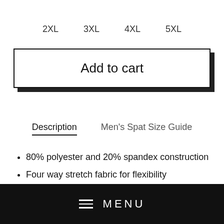2XL   3XL   4XL   5XL
Add to cart
Description   Men's Spat Size Guide
80% polyester and 20% spandex construction
Four way stretch fabric for flexibility
Sweat wicking
MENU